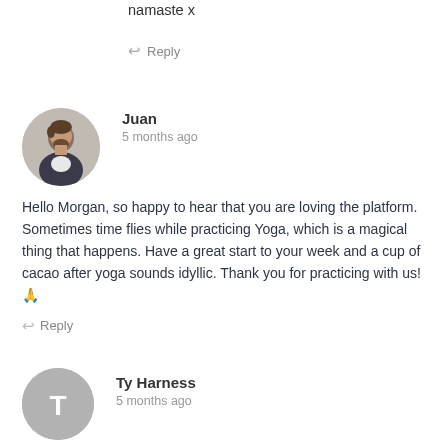namaste x
↩ Reply
Juan
5 months ago
Hello Morgan, so happy to hear that you are loving the platform. Sometimes time flies while practicing Yoga, which is a magical thing that happens. Have a great start to your week and a cup of cacao after yoga sounds idyllic. Thank you for practicing with us! 🙏
↩ Reply
[Figure (photo): Round avatar photo of Juan, a man with dark beard]
Ty Harness
5 months ago
[Figure (illustration): Round grey avatar with letter T for Ty Harness]